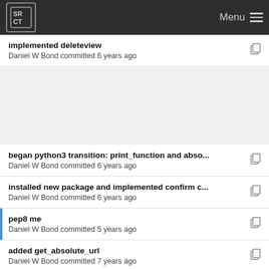SRCT Menu
implemented deleteview
Daniel W Bond committed 6 years ago
began python3 transition: print_function and abso...
Daniel W Bond committed 6 years ago
installed new package and implemented confirm c...
Daniel W Bond committed 6 years ago
pep8 me
Daniel W Bond committed 5 years ago
added get_absolute_url
Daniel W Bond committed 7 years ago